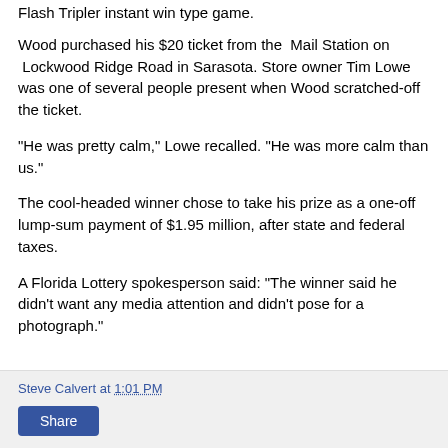Flash Tripler instant win type game.
Wood purchased his $20 ticket from the  Mail Station on  Lockwood Ridge Road in Sarasota. Store owner Tim Lowe was one of several people present when Wood scratched-off the ticket.
"He was pretty calm," Lowe recalled. "He was more calm than us."
The cool-headed winner chose to take his prize as a one-off lump-sum payment of $1.95 million, after state and federal taxes.
A Florida Lottery spokesperson said: "The winner said he didn't want any media attention and didn't pose for a photograph."
Steve Calvert at 1:01 PM